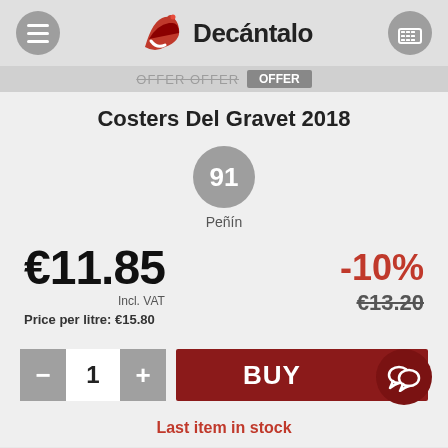Decántalo
Costers Del Gravet 2018
[Figure (infographic): Score badge showing 91 points from Peñín wine guide]
€11.85 Incl. VAT Price per litre: €15.80
-10% €13.20
1
BUY
Last item in stock